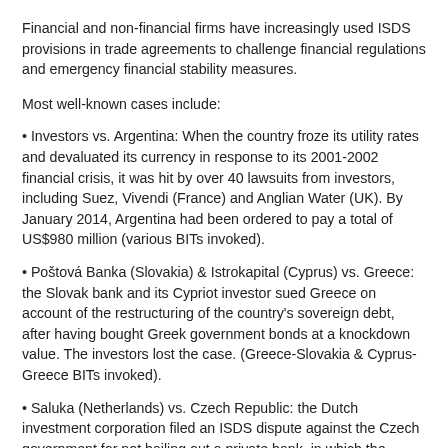Financial and non-financial firms have increasingly used ISDS provisions in trade agreements to challenge financial regulations and emergency financial stability measures.
Most well-known cases include:
Investors vs. Argentina: When the country froze its utility rates and devaluated its currency in response to its 2001-2002 financial crisis, it was hit by over 40 lawsuits from investors, including Suez, Vivendi (France) and Anglian Water (UK). By January 2014, Argentina had been ordered to pay a total of US$980 million (various BITs invoked).
Poštová Banka (Slovakia) & Istrokapital (Cyprus) vs. Greece: the Slovak bank and its Cypriot investor sued Greece on account of the restructuring of the country's sovereign debt, after having bought Greek government bonds at a knockdown value. The investors lost the case. (Greece-Slovakia & Cyprus-Greece BITs invoked).
Saluka (Netherlands) vs. Czech Republic: the Dutch investment corporation filed an ISDS dispute against the Czech government for not bailing out a private bank, in which the company had a stake, in the same way that the government bailed out banks in which the government had a stake.